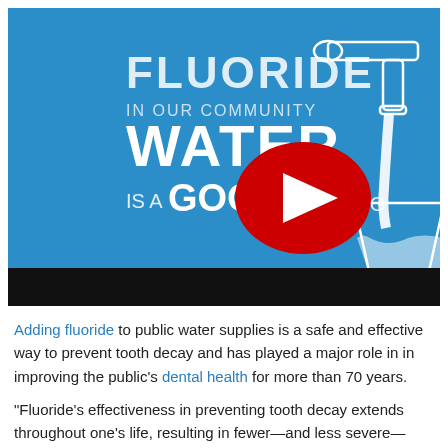[Figure (screenshot): YouTube video thumbnail with blue background showing 'FLUORIDE IN OUR COMMUNITY WATER IS A GOOD THING' text, a faucet and glass icon, and YouTube play button overlay]
Adding fluoride to public water supplies is a safe and effective way to prevent tooth decay and has played a major role in in improving the public's dental health for more than 70 years.
"Fluoride's effectiveness in preventing tooth decay extends throughout one's life, resulting in fewer—and less severe—cavities," says former Surgeon General Vivek H. Murthy. Read on to learn more about what the